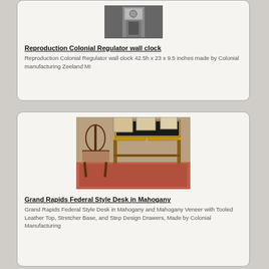[Figure (photo): Photo of a Reproduction Colonial Regulator wall clock]
Reproduction Colonial Regulator wall clock
Reproduction Colonial Regulator wall clock 42.5h x 23 x 9.5 inches made by Colonial manufacturing Zeeland MI
[Figure (photo): Photo of a Grand Rapids Federal Style Desk in Mahogany with a chair on a rug]
Grand Rapids Federal Style Desk in Mahogany
Grand Rapids Federal Style Desk in Mahogany and Mahogany Veneer with Tooled Leather Top, Stretcher Base, and Step Design Drawers, Made by Colonial Manufacturing